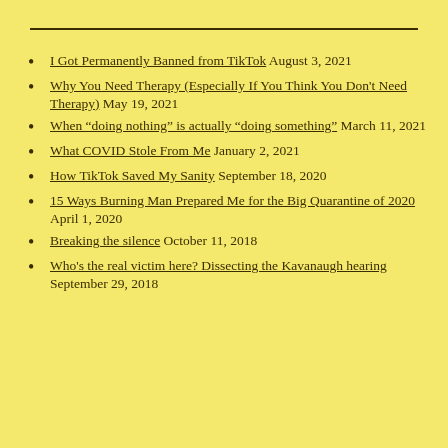I Got Permanently Banned from TikTok August 3, 2021
Why You Need Therapy (Especially If You Think You Don't Need Therapy) May 19, 2021
When “doing nothing” is actually “doing something” March 11, 2021
What COVID Stole From Me January 2, 2021
How TikTok Saved My Sanity September 18, 2020
15 Ways Burning Man Prepared Me for the Big Quarantine of 2020 April 1, 2020
Breaking the silence October 11, 2018
Who's the real victim here? Dissecting the Kavanaugh hearing September 29, 2018